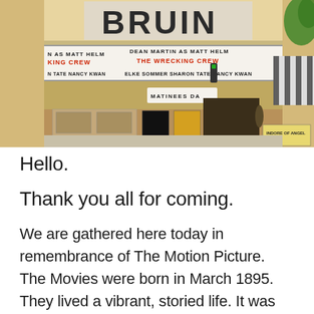[Figure (photo): Exterior photograph of the Bruin Theatre marquee showing 'Dean Martin as Matt Helm, The Wrecking Crew, Elke Sommer Sharon Tate Nancy Kwan' on the marquee. The theatre has a classic mid-century design with a box office, movie posters on display, and a striped awning visible on the right side. Shot in warm golden light.]
Hello.
Thank you all for coming.
We are gathered here today in remembrance of The Motion Picture. The Movies were born in March 1895. They lived a vibrant, storied life. It was not until 1927, at